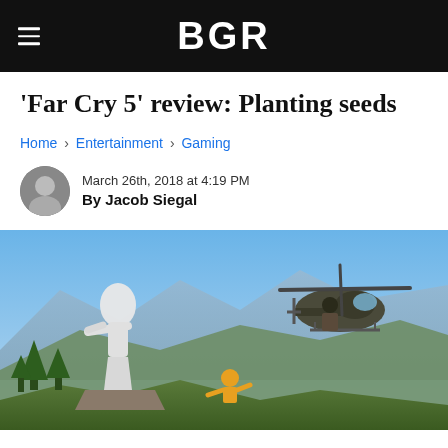BGR
'Far Cry 5' review: Planting seeds
Home › Entertainment › Gaming
March 26th, 2018 at 4:19 PM
By Jacob Siegal
[Figure (photo): Far Cry 5 game screenshot showing a large white statue figure on a rocky overlook, a helicopter with a gunman, a person in a yellow jacket, and a mountainous valley landscape in the background under blue skies.]